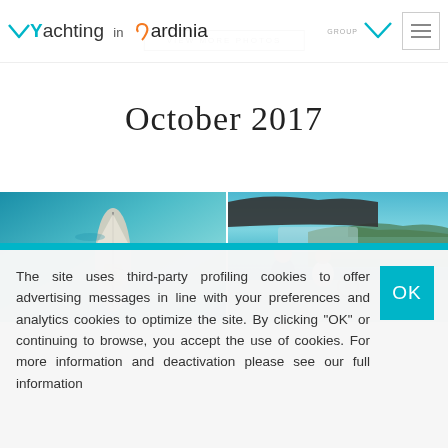Yachting in Sardinia
VIEW MORE PHOTOS
October 2017
[Figure (photo): Aerial view of a sailboat on turquoise water from above]
[Figure (photo): Two people on a motorboat cockpit with green coastline in background]
The site uses third-party profiling cookies to offer advertising messages in line with your preferences and analytics cookies to optimize the site. By clicking "OK" or continuing to browse, you accept the use of cookies. For more information and deactivation please see our full information